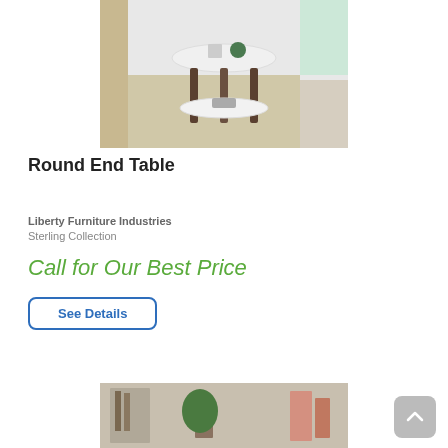[Figure (photo): Round end table with white marble top and lower shelf, dark brown legs, displayed on a patterned rug in a room setting with shelving in the background]
Round End Table
Liberty Furniture Industries
Sterling Collection
Call for Our Best Price
See Details
[Figure (photo): Partial view of a room setting showing shelving with decor items and a plant, bottom portion of page]